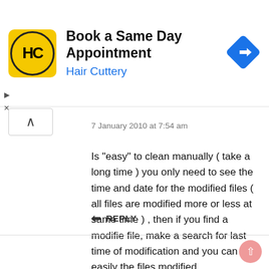[Figure (infographic): Advertisement banner for Hair Cuttery with yellow HC logo, text 'Book a Same Day Appointment' and 'Hair Cuttery' in blue, plus a blue navigation icon on the right.]
7 January 2010 at 7:54 am
Is "easy" to clean manually ( take a long time ) you only need to see the time and date for the modified files ( all files are modified more or less at same time ) , then if you find a modifie file, make a search for last time of modification and you can see easily the files modified.

Regards
↩ REPLY